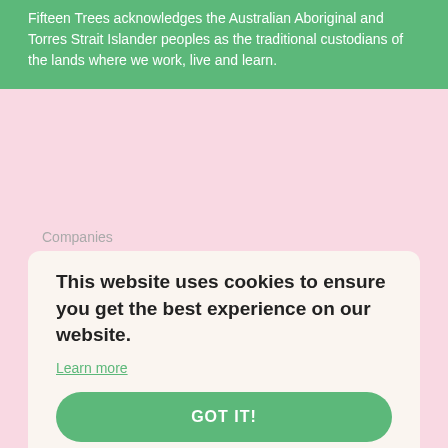Fifteen Trees acknowledges the Australian Aboriginal and Torres Strait Islander peoples as the traditional custodians of the lands where we work, live and learn.
Companies
This website uses cookies to ensure you get the best experience on our website.
Learn more
GOT IT!
Sponsors